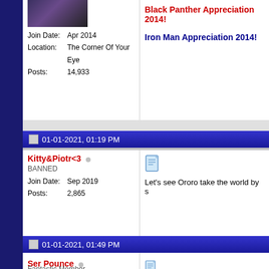Join Date: Apr 2014
Location: The Corner Of Your Eye
Posts: 14,933
Black Panther Appreciation 2014!

Iron Man Appreciation 2014!
01-01-2021, 01:19 PM
Kitty&Piotr<3
BANNED
Join Date: Sep 2019
Posts: 2,865
Let's see Ororo take the world by s
01-01-2021, 01:49 PM
Ser Pounce
Fantastic Member